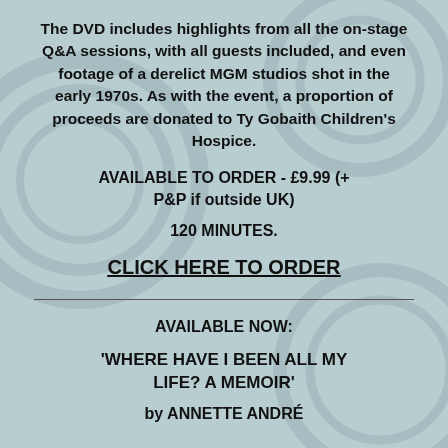The DVD includes highlights from all the on-stage Q&A sessions, with all guests included, and even footage of a derelict MGM studios shot in the early 1970s. As with the event, a proportion of proceeds are donated to Ty Gobaith Children's Hospice.
AVAILABLE TO ORDER - £9.99 (+ P&P if outside UK)
120 MINUTES.
CLICK HERE TO ORDER
AVAILABLE NOW:
'WHERE HAVE I BEEN ALL MY LIFE? A MEMOIR'
by ANNETTE ANDRÉ